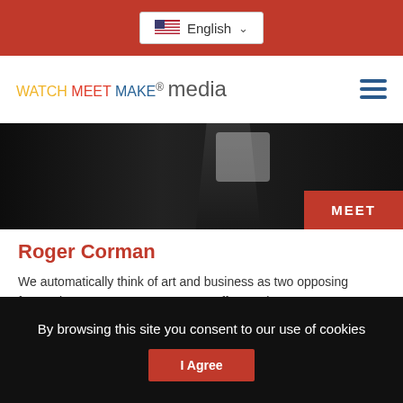English (language selector bar)
WATCH MEET MAKE media
[Figure (photo): Dark background photo of a person (Roger Corman) with a white shirt, partially visible, with a red MEET button overlay in the bottom right]
Roger Corman
We automatically think of art and business as two opposing forces, but Roger Corman's career offers a nice counter-argument to that assumption.
By browsing this site you consent to our use of cookies  I Agree